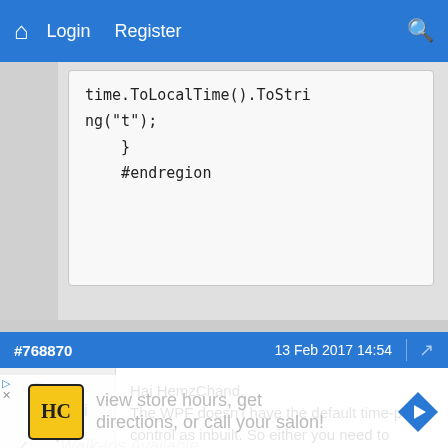Login  Register
[Figure (screenshot): Code snippet showing: time.ToLocalTime().ToString("t");  }  #endregion]
#768870   13 Feb 2017 14:54
Pawan Awasthi
Hai HemzChand,
The WPF doesn't have the default time-picker control as inbuilt. So either you need to extend the existing control or you
[Figure (infographic): Advertisement banner: HC logo, text 'View store hours, get directions, or call your salon!' with navigation arrow icon. Walk-Ins Available text partially visible.]